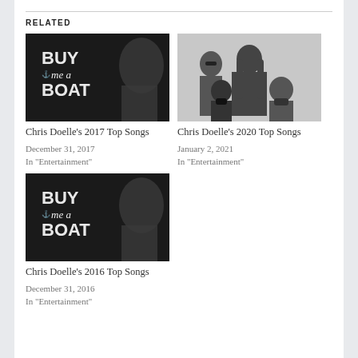RELATED
[Figure (photo): Buy Me A Boat album art with singer in background]
Chris Doelle's 2017 Top Songs
December 31, 2017
In "Entertainment"
[Figure (photo): Black and white photo of a rock band, four members]
Chris Doelle's 2020 Top Songs
January 2, 2021
In "Entertainment"
[Figure (photo): Buy Me A Boat album art with singer in background]
Chris Doelle's 2016 Top Songs
December 31, 2016
In "Entertainment"